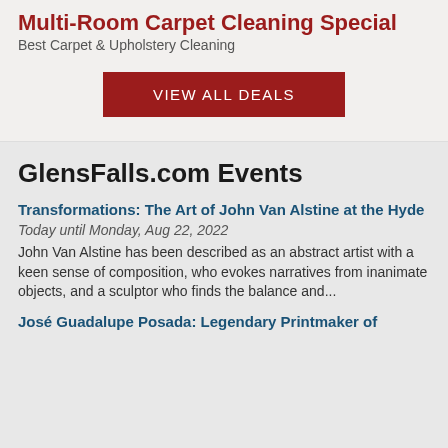Multi-Room Carpet Cleaning Special
Best Carpet & Upholstery Cleaning
VIEW ALL DEALS
GlensFalls.com Events
Transformations: The Art of John Van Alstine at the Hyde
Today until Monday, Aug 22, 2022
John Van Alstine has been described as an abstract artist with a keen sense of composition, who evokes narratives from inanimate objects, and a sculptor who finds the balance and...
José Guadalupe Posada: Legendary Printmaker of